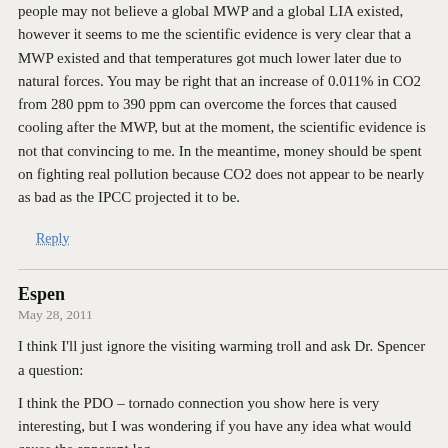people may not believe a global MWP and a global LIA existed, however it seems to me the scientific evidence is very clear that a MWP existed and that temperatures got much lower later due to natural forces. You may be right that an increase of 0.011% in CO2 from 280 ppm to 390 ppm can overcome the forces that caused cooling after the MWP, but at the moment, the scientific evidence is not that convincing to me. In the meantime, money should be spent on fighting real pollution because CO2 does not appear to be nearly as bad as the IPCC projected it to be.
Reply
Espen
May 28, 2011
I think I'll just ignore the visiting warming troll and ask Dr. Spencer a question:
I think the PDO – tornado connection you show here is very interesting, but I was wondering if you have any idea what would cause the apparent lag